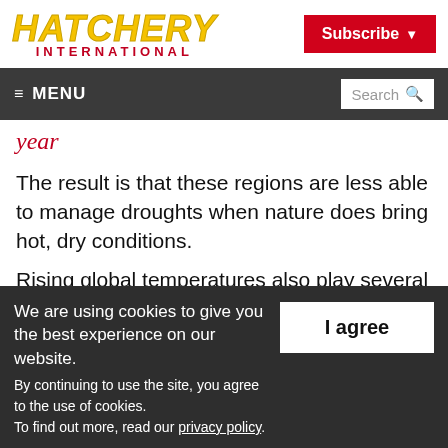HATCHERY INTERNATIONAL | Subscribe
≡ MENU | Search
year
The result is that these regions are less able to manage droughts when nature does bring hot, dry conditions.
Rising global temperatures also play several roles in drought. They influence whether
We are using cookies to give you the best experience on our website. By continuing to use the site, you agree to the use of cookies. To find out more, read our privacy policy.